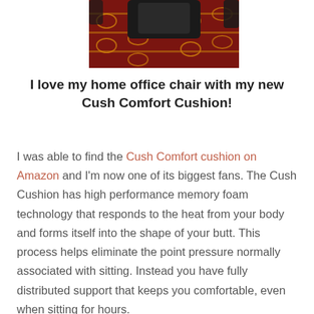[Figure (photo): Photo of a chair seat with a black cushion on a red and gold patterned fabric, viewed from above.]
I love my home office chair with my new Cush Comfort Cushion!
I was able to find the Cush Comfort cushion on Amazon and I'm now one of its biggest fans. The Cush Cushion has high performance memory foam technology that responds to the heat from your body and forms itself into the shape of your butt. This process helps eliminate the point pressure normally associated with sitting. Instead you have fully distributed support that keeps you comfortable, even when sitting for hours.